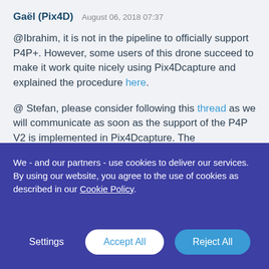Gaël (Pix4D)   August 06, 2018 07:37
@Ibrahim, it is not in the pipeline to officially support P4P+. However, some users of this drone succeed to make it work quite nicely using Pix4Dcapture and explained the procedure here.
@ Stefan, please consider following this thread as we will communicate as soon as the support of the P4P V2 is implemented in Pix4Dcapture. The development of the support for this drone is currently ongoing.
We - and our partners - use cookies to deliver our services. By using our website, you agree to the use of cookies as described in our Cookie Policy
Settings   Accept All   Reject All